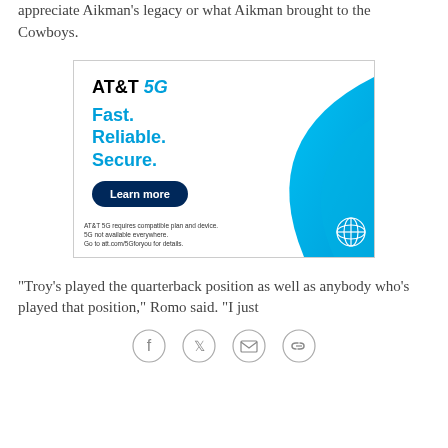appreciate Aikman's legacy or what Aikman brought to the Cowboys.
[Figure (infographic): AT&T 5G advertisement. Text reads: AT&T 5G. Fast. Reliable. Secure. Learn more button. Disclaimer: AT&T 5G requires compatible plan and device. 5G not available everywhere. Go to att.com/5Gforyou for details. Blue swoosh graphic with AT&T globe logo.]
"Troy's played the quarterback position as well as anybody who's played that position," Romo said. "I just